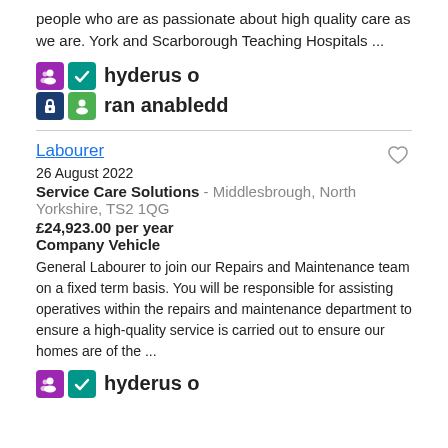people who are as passionate about high quality care as we are. York and Scarborough Teaching Hospitals ...
[Figure (logo): Two rows of certification badges: row 1 has a purple people icon badge and a teal checkmark badge followed by text 'hyderus o'; row 2 has a navy lock badge and a green person badge followed by text 'ran anabledd']
Labourer
26 August 2022
Service Care Solutions - Middlesbrough, North Yorkshire, TS2 1QG
£24,923.00 per year
Company Vehicle
General Labourer to join our Repairs and Maintenance team on a fixed term basis. You will be responsible for assisting operatives within the repairs and maintenance department to ensure a high-quality service is carried out to ensure our homes are of the ...
[Figure (logo): Bottom partial row of certification badges: purple people icon badge and teal checkmark badge followed by partial text 'hyderus o']